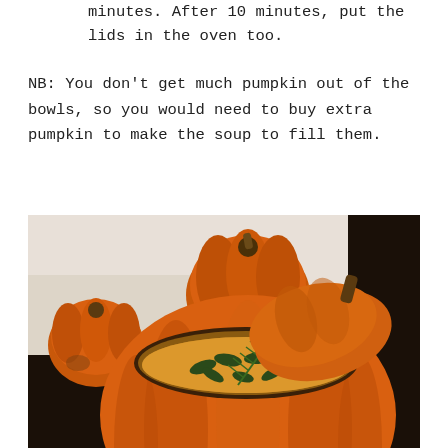minutes. After 10 minutes, put the lids in the oven too.
NB: You don't get much pumpkin out of the bowls, so you would need to buy extra pumpkin to make the soup to fill them.
[Figure (photo): A small pumpkin used as a soup bowl, filled with orange pumpkin soup topped with pumpkin seeds and a sprig of rosemary. The lid of the pumpkin rests to the side. Two additional small orange pumpkins are visible in the background on a white surface.]